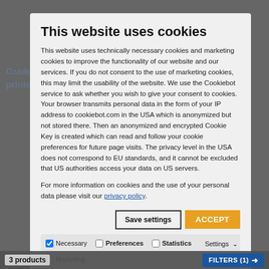This website uses cookies
This website uses technically necessary cookies and marketing cookies to improve the functionality of our website and our services. If you do not consent to the use of marketing cookies, this may limit the usability of the website. We use the Cookiebot service to ask whether you wish to give your consent to cookies. Your browser transmits personal data in the form of your IP address to cookiebot.com in the USA which is anonymized but not stored there. Then an anonymized and encrypted Cookie Key is created which can read and follow your cookie preferences for future page visits. The privacy level in the USA does not correspond to EU standards, and it cannot be excluded that US authorities access your data on US servers.
For more information on cookies and the use of your personal data please visit our privacy policy.
Save settings | ACCEPT
Necessary | Preferences | Statistics | Settings | Marketing